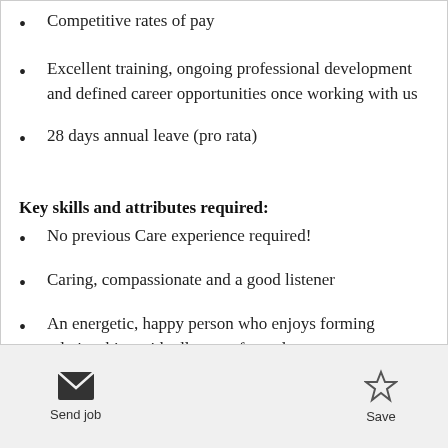Competitive rates of pay
Excellent training, ongoing professional development and defined career opportunities once working with us
28 days annual leave (pro rata)
Key skills and attributes required:
No previous Care experience required!
Caring, compassionate and a good listener
An energetic, happy person who enjoys forming relationships with all sorts of people
Enhanced DBS
Send job   Save